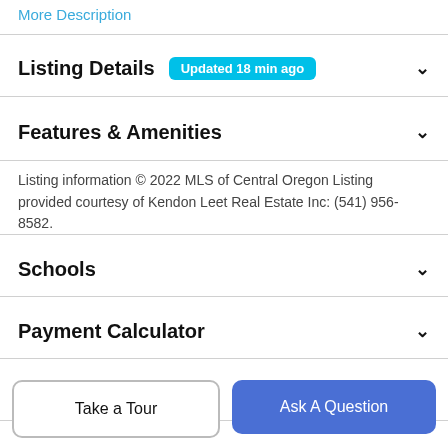More Description
Listing Details  Updated 18 min ago
Features & Amenities
Listing information © 2022 MLS of Central Oregon Listing provided courtesy of Kendon Leet Real Estate Inc: (541) 956-8582.
Schools
Payment Calculator
Contact Agent
Take a Tour
Ask A Question